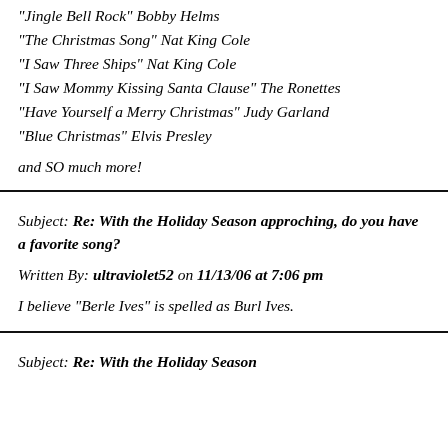"Jingle Bell Rock" Bobby Helms
"The Christmas Song" Nat King Cole
"I Saw Three Ships" Nat King Cole
"I Saw Mommy Kissing Santa Clause" The Ronettes
"Have Yourself a Merry Christmas" Judy Garland
"Blue Christmas" Elvis Presley
and SO much more!
Subject: Re: With the Holiday Season approching, do you have a favorite song?
Written By: ultraviolet52 on 11/13/06 at 7:06 pm
I believe "Berle Ives" is spelled as Burl Ives.
Subject: Re: With the Holiday Season